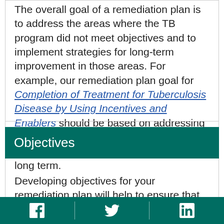The overall goal of a remediation plan is to address the areas where the TB program did not meet objectives and to implement strategies for long-term improvement in those areas. For example, our remediation plan goal for Completion of Treatment for Tuberculosis Disease by Using Incentives and Enablers should be based on addressing patient barriers for completing treatment using strategies that can be implemented long term.
Objectives
Developing objectives for your remediation plan will help to ensure that the activities meet the specified objectives.
Facebook | Twitter | LinkedIn